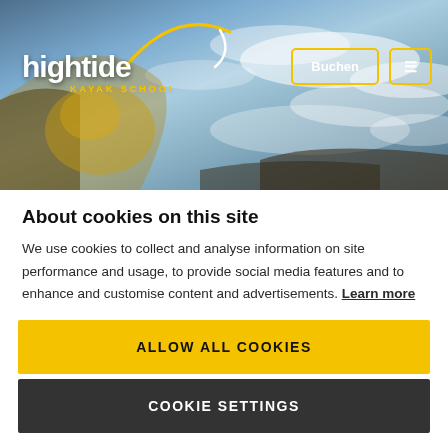[Figure (photo): Hightide Kayak School hero banner with a kayaker in yellow gear on ocean waves, with logo and navigation buttons]
About cookies on this site
We use cookies to collect and analyse information on site performance and usage, to provide social media features and to enhance and customise content and advertisements. Learn more
ALLOW ALL COOKIES
COOKIE SETTINGS